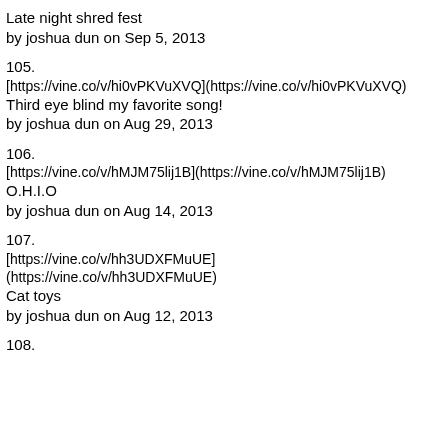Late night shred fest
by joshua dun on Sep 5, 2013
105.
[https://vine.co/v/hi0vPKVuXVQ](https://vine.co/v/hi0vPKVuXVQ)
Third eye blind my favorite song!
by joshua dun on Aug 29, 2013
106.
[https://vine.co/v/hMJM75lij1B](https://vine.co/v/hMJM75lij1B)
O.H.I.O
by joshua dun on Aug 14, 2013
107.
[https://vine.co/v/hh3UDXFMuUE]
(https://vine.co/v/hh3UDXFMuUE)
Cat toys
by joshua dun on Aug 12, 2013
108.